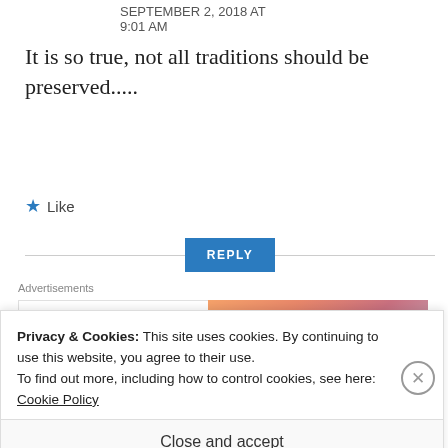SEPTEMBER 2, 2018 AT 9:01 AM
It is so true, not all traditions should be preserved.....
★ Like
REPLY
Advertisements
[Figure (logo): WordPress VIP advertisement banner with orange/pink gradient and 'Learn more →' button]
Privacy & Cookies: This site uses cookies. By continuing to use this website, you agree to their use.
To find out more, including how to control cookies, see here: Cookie Policy
Close and accept